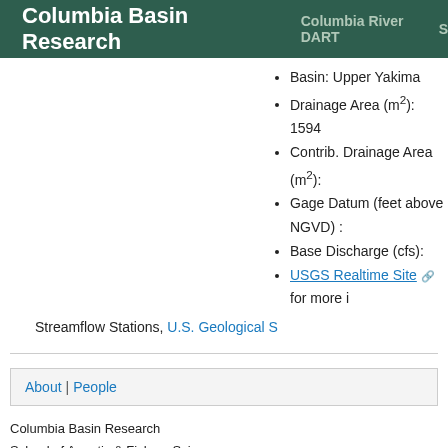Columbia Basin Research   Columbia River DART   S...
Basin: Upper Yakima
Drainage Area (m²): 1594
Contrib. Drainage Area (m²):
Gage Datum (feet above NGVD) :
Base Discharge (cfs):
USGS Realtime Site [icon] for more i...
Streamflow Stations, U.S. Geological S...
About | People
Columbia Basin Research
School of Aquatic & Fishery Sciences
University of Washington
Questions? Data Requests? Contact: dart@cbr.washington.edu, DART Co...